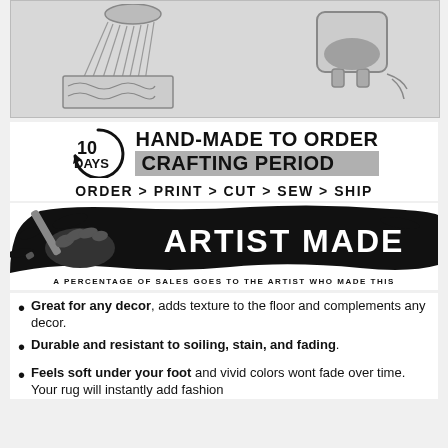[Figure (illustration): Two illustrations: left shows water/shower spraying onto a rug, right shows a pot or bucket being emptied with contents falling out.]
10 DAYS HAND-MADE TO ORDER CRAFTING PERIOD
ORDER > PRINT > CUT > SEW > SHIP
[Figure (logo): Artist Made logo: hand holding paintbrush with black paint splash background, text ARTIST MADE in white, and below: A PERCENTAGE OF SALES GOES TO THE ARTIST WHO MADE THIS]
Great for any decor, adds texture to the floor and complements any decor.
Durable and resistant to soiling, stain, and fading.
Feels soft under your foot and vivid colors wont fade over time. Your rug will instantly add fashion